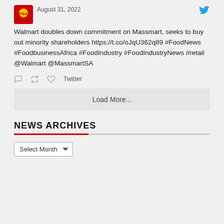[Figure (screenshot): Tweet from Food Business Africa Magazine account dated August 31, 2022 with Twitter bird logo]
August 31, 2022
Walmart doubles down commitment on Massmart, seeks to buy out minority shareholders https://t.co/oJqU362q89 #FoodNews #FoodbusinessAfrica #FoodIndustry #FoodIndustryNews #retail @Walmart @MassmartSA
Twitter
Load More...
NEWS ARCHIVES
Select Month